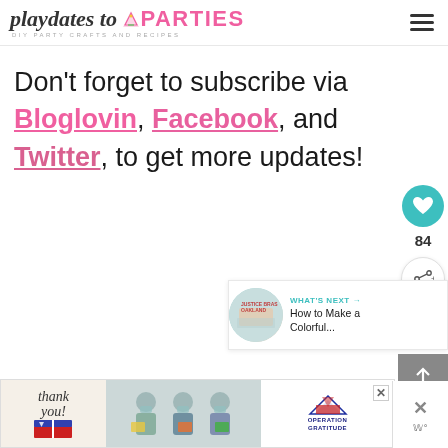playdates to PARTIES — DIY PARTY CRAFTS AND RECIPES
Don't forget to subscribe via Bloglovin, Facebook, and Twitter, to get more updates!
[Figure (infographic): Heart/like button showing 84 likes, and a share button on the right sidebar]
[Figure (infographic): WHAT'S NEXT arrow with thumbnail and text: How to Make a Colorful...]
[Figure (photo): Ad banner: Thank you Operation Gratitude with people in masks holding boxes]